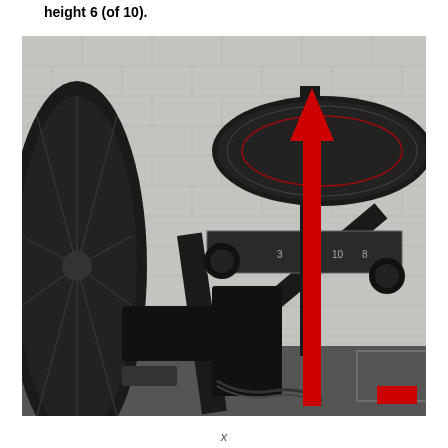height 6 (of 10).
[Figure (photo): A close-up photo of a stationary exercise bike showing the seat adjustment mechanism. A red vertical arrow points upward from the seat post adjustment area toward the bike seat, indicating how to raise the seat height. The bike is black with a mesh fan wheel visible on the left, positioned against a white brick wall background.]
x